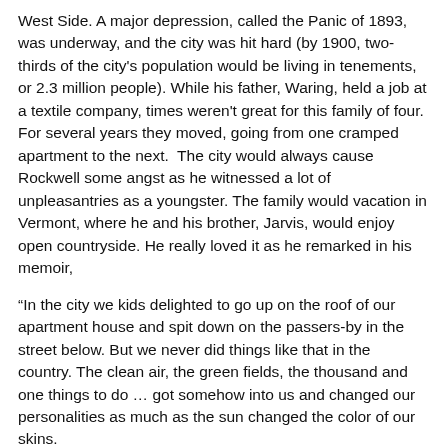West Side. A major depression, called the Panic of 1893, was underway, and the city was hit hard (by 1900, two-thirds of the city's population would be living in tenements, or 2.3 million people). While his father, Waring, held a job at a textile company, times weren't great for this family of four. For several years they moved, going from one cramped apartment to the next.  The city would always cause Rockwell some angst as he witnessed a lot of unpleasantries as a youngster. The family would vacation in Vermont, where he and his brother, Jarvis, would enjoy open countryside. He really loved it as he remarked in his memoir,
“In the city we kids delighted to go up on the roof of our apartment house and spit down on the passers-by in the street below. But we never did things like that in the country. The clean air, the green fields, the thousand and one things to do … got somehow into us and changed our personalities as much as the sun changed the color of our skins.
“Maybe as I grew up and found that the world wasn’t the perfectly pleasant place I had thought it to be I unconsciously decided that, even if it wasn’t an ideal world, it should be and